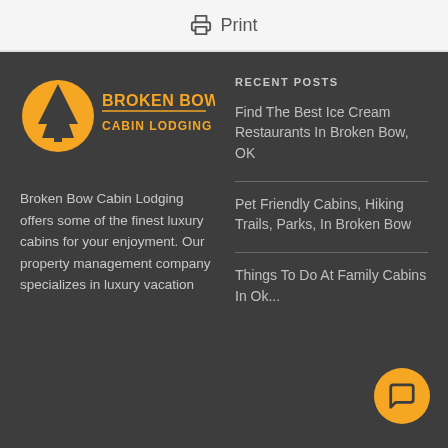Print
[Figure (logo): Broken Bow Cabin Lodging logo — yellow circular emblem with pine tree silhouette and yellow text reading BROKEN BOW CABIN LODGING]
Broken Bow Cabin Lodging offers some of the finest luxury cabins for your enjoyment. Our property management company specializes in luxury vacation
RECENT POSTS
Find The Best Ice Cream Restaurants In Broken Bow, OK
Pet Friendly Cabins, Hiking Trails, Parks, In Broken Bow
Things To Do At Family Cabins In Ok...